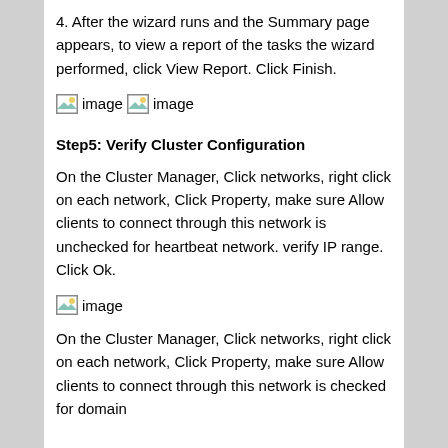4. After the wizard runs and the Summary page appears, to view a report of the tasks the wizard performed, click View Report. Click Finish.
[Figure (screenshot): Screenshot image placeholder (image)]
[Figure (screenshot): Screenshot image placeholder (image)]
Step5: Verify Cluster Configuration
On the Cluster Manager, Click networks, right click on each network, Click Property, make sure Allow clients to connect through this network is unchecked for heartbeat network. verify IP range. Click Ok.
[Figure (screenshot): Screenshot image placeholder (image)]
On the Cluster Manager, Click networks, right click on each network, Click Property, make sure Allow clients to connect through this network is checked for domain